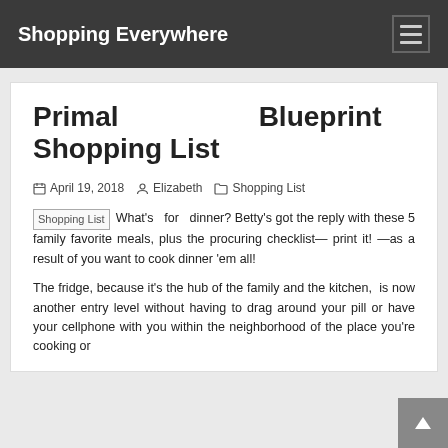Shopping Everywhere
Primal Blueprint Shopping List
April 19, 2018   Elizabeth   Shopping List
Shopping List  What's for dinner? Betty's got the reply with these 5 family favorite meals, plus the procuring checklist— print it! —as a result of you want to cook dinner 'em all!
The fridge, because it's the hub of the family and the kitchen, is now another entry level without having to drag around your pill or have your cellphone with you within the neighborhood of the place you're cooking or